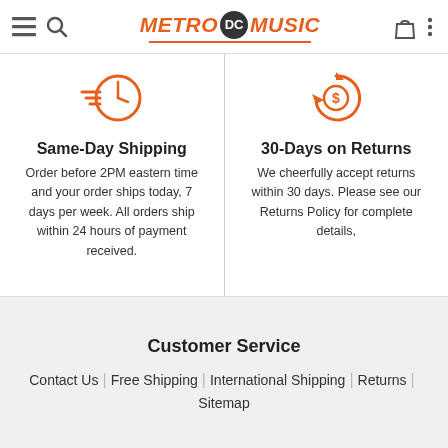METRO DC MUSIC
[Figure (logo): Metro DC Music logo with orange italic METRO and MUSIC text, dark circular DC badge in center, orange underline]
[Figure (illustration): Orange circular speed/shipping icon with dashes and clock face]
Same-Day Shipping
Order before 2PM eastern time and your order ships today, 7 days per week. All orders ship within 24 hours of payment received.
[Figure (illustration): Orange circular refresh/return icon with dollar sign coin]
30-Days on Returns
We cheerfully accept returns within 30 days. Please see our Returns Policy for complete details,
Customer Service
Contact Us
Free Shipping
International Shipping
Returns
Sitemap